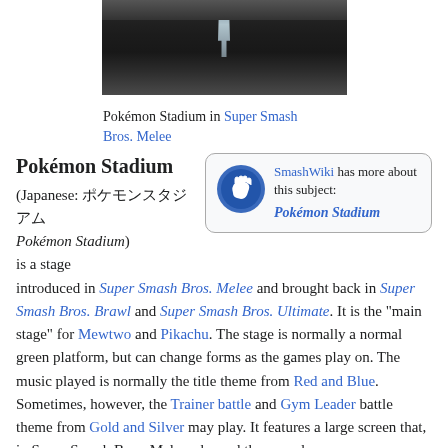[Figure (screenshot): Pokémon Stadium in-game screenshot from Super Smash Bros. Melee, showing a dark arena with a metallic trophy/stage structure]
Pokémon Stadium in Super Smash Bros. Melee
Pokémon Stadium
[Figure (logo): SmashWiki logo - a blue fist icon]
SmashWiki has more about this subject: Pokémon Stadium
Pokémon Stadium (Japanese: ポケモンスタジアム Pokémon Stadium) is a stage introduced in Super Smash Bros. Melee and brought back in Super Smash Bros. Brawl and Super Smash Bros. Ultimate. It is the "main stage" for Mewtwo and Pikachu. The stage is normally a normal green platform, but can change forms as the games play on. The music played is normally the title theme from Red and Blue. Sometimes, however, the Trainer battle and Gym Leader battle theme from Gold and Silver may play. It features a large screen that, in Super Smash Bros. Melee, showed the records